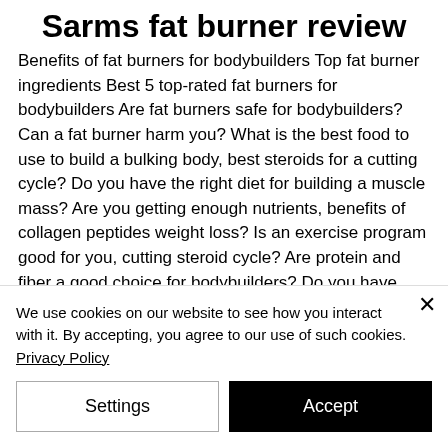Sarms fat burner review
Benefits of fat burners for bodybuilders Top fat burner ingredients Best 5 top-rated fat burners for bodybuilders Are fat burners safe for bodybuilders? Can a fat burner harm you? What is the best food to use to build a bulking body, best steroids for a cutting cycle? Do you have the right diet for building a muscle mass? Are you getting enough nutrients, benefits of collagen peptides weight loss? Is an exercise program good for you, cutting steroid cycle? Are protein and fiber a good choice for bodybuilders? Do you have enough protein to build a strong body?
We use cookies on our website to see how you interact with it. By accepting, you agree to our use of such cookies. Privacy Policy
Settings
Accept